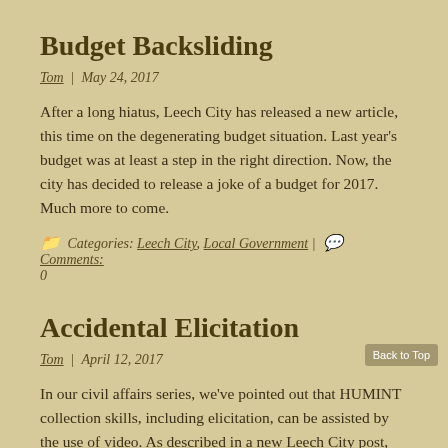Budget Backsliding
Tom | May 24, 2017
After a long hiatus, Leech City has released a new article, this time on the degenerating budget situation. Last year's budget was at least a step in the right direction. Now, the city has decided to release a joke of a budget for 2017. Much more to come.
Categories: Leech City, Local Government | Comments: 0
Accidental Elicitation
Tom | April 12, 2017
In our civil affairs series, we've pointed out that HUMINT collection skills, including elicitation, can be assisted by the use of video. As described in a new Leech City post, during